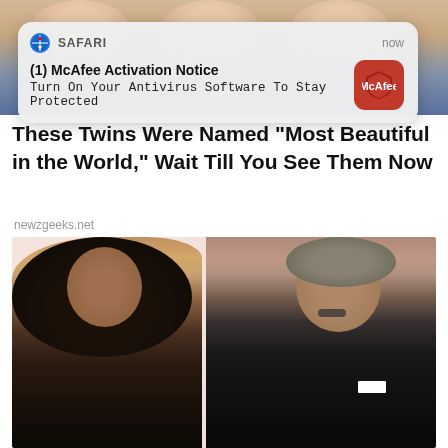[Figure (screenshot): Top portion of a webpage showing faces of twins in the background with a Safari push notification overlay from McAfee: '(1) McAfee Activation Notice - Turn On Your Antivirus Software To Stay Protected']
These Twins Were Named "Most Beautiful in the World," Wait Till You See Them Now
newzgeeks.net
[Figure (photo): Photo of two people (a woman with curly hair in a strapless dress and a man in a tuxedo) posing in front of a golden Oscar statue against a pink background]